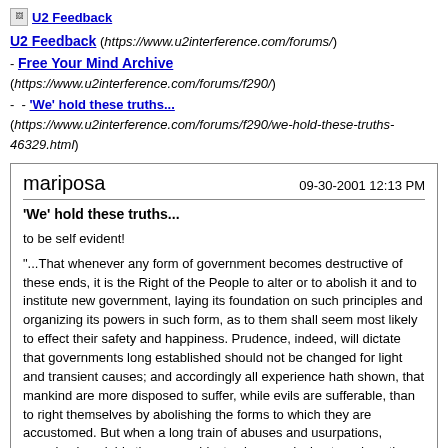U2 Feedback
U2 Feedback (https://www.u2interference.com/forums/)
- Free Your Mind Archive (https://www.u2interference.com/forums/f290/)
- - 'We' hold these truths... (https://www.u2interference.com/forums/f290/we-hold-these-truths-46329.html)
mariposa | 09-30-2001 12:13 PM
'We' hold these truths...

to be self evident!

"...That whenever any form of government becomes destructive of these ends, it is the Right of the People to alter or to abolish it and to institute new government, laying its foundation on such principles and organizing its powers in such form, as to them shall seem most likely to effect their safety and happiness. Prudence, indeed, will dictate that governments long established should not be changed for light and transient causes; and accordingly all experience hath shown, that mankind are more disposed to suffer, while evils are sufferable, than to right themselves by abolishing the forms to which they are accustomed. But when a long train of abuses and usurpations, pursuing invariably the same object evinces a design to reduce them under absolute despotism, it is their right, it is their duty, to throw off such government, and to provide new guards for their future security..."
-The Declaration of Independence, July 4, 1776